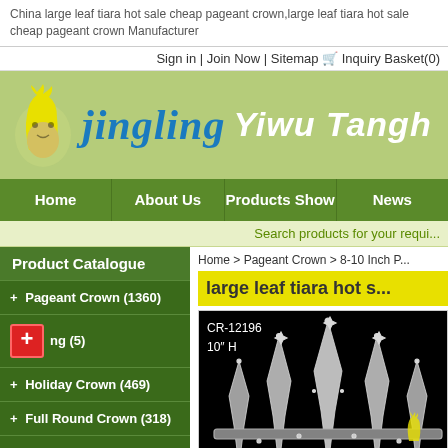China large leaf tiara hot sale cheap pageant crown,large leaf tiara hot sale cheap pageant crown Manufacturer
Sign in | Join Now | Sitemap  Inquiry Basket(0)
[Figure (logo): Jingling Yiwu Tanghe logo with yellow rabbit/deer icon on green banner background]
[Figure (screenshot): Navigation bar with Home, About Us, Products Show, News links on green background]
Search products for your requi...
Product Catalogue
+ Pageant Crown (1360)
+ ...ng (5)
+ Holiday Crown (469)
+ Full Round Crown (318)
- Patriotic Crown (138)
Home > Pageant Crown > 8-10 Inch P...
large leaf tiara hot s...
[Figure (photo): Product photo of large leaf tiara crown (CR-12196, 10 H) on black background with sparkling rhinestones, website watermark visible]